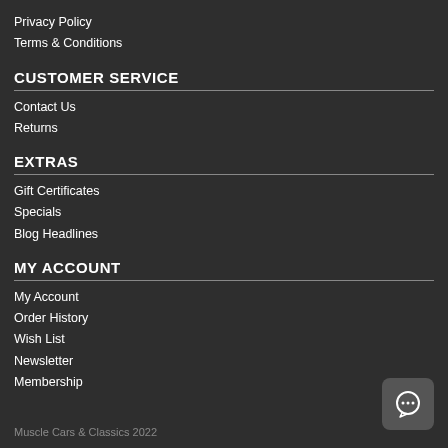Privacy Policy
Terms & Conditions
CUSTOMER SERVICE
Contact Us
Returns
EXTRAS
Gift Certificates
Specials
Blog Headlines
MY ACCOUNT
My Account
Order History
Wish List
Newsletter
Membership
Muscle Cars & Classics 2022